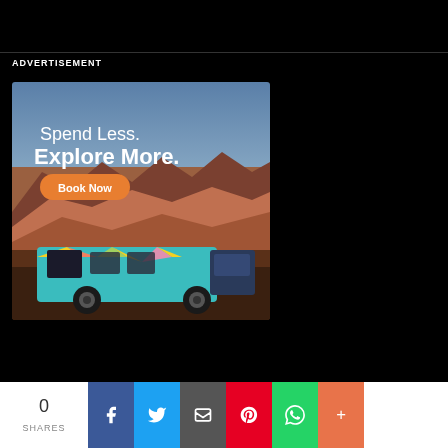ADVERTISEMENT
[Figure (photo): Advertisement image showing a colorfully wrapped camper van (teal, yellow, pink geometric pattern) parked in front of a dramatic desert canyon landscape. Text overlay reads: 'Spend Less. Explore More.' with an orange 'Book Now' button.]
0 SHARES
[Figure (infographic): Social sharing bar with Facebook, Twitter, Email, Pinterest, WhatsApp, and More (+) buttons]